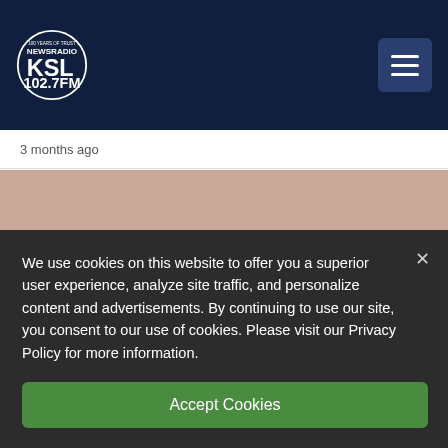KSL NewsRadio 102.7FM — 100 Years of Trust
3 months ago
[Figure (photo): Photograph of a person in military uniform wearing an army officer's cap with an eagle insignia, vintage colorized style.]
We use cookies on this website to offer you a superior user experience, analyze site traffic, and personalize content and advertisements. By continuing to use our site, you consent to our use of cookies. Please visit our Privacy Policy for more information.
Accept Cookies